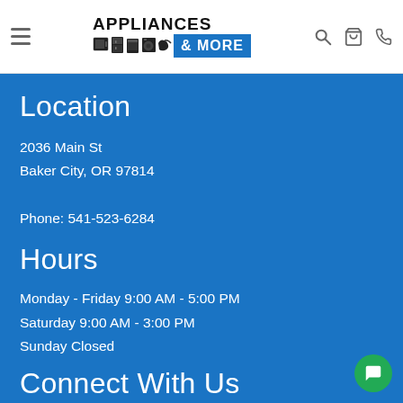Appliances & More — navigation header with logo, search, cart, and phone icons
Location
2036 Main St
Baker City, OR 97814

Phone: 541-523-6284
Hours
Monday - Friday 9:00 AM - 5:00 PM
Saturday 9:00 AM - 3:00 PM
Sunday Closed
Connect With Us